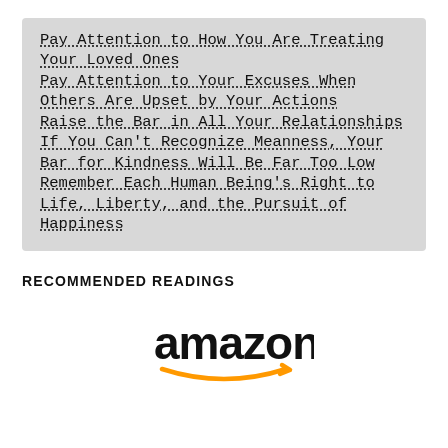Pay Attention to How You Are Treating Your Loved Ones
Pay Attention to Your Excuses When Others Are Upset by Your Actions
Raise the Bar in All Your Relationships
If You Can't Recognize Meanness, Your Bar for Kindness Will Be Far Too Low
Remember Each Human Being's Right to Life, Liberty, and the Pursuit of Happiness
RECOMMENDED READINGS
[Figure (logo): Amazon logo with orange arrow smile beneath black text]